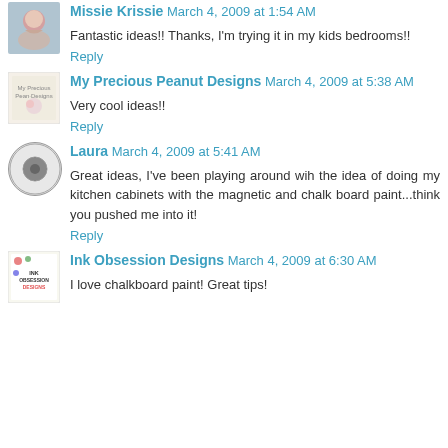Missie Krissie March 4, 2009 at 1:54 AM
Fantastic ideas!! Thanks, I'm trying it in my kids bedrooms!!
Reply
My Precious Peanut Designs March 4, 2009 at 5:38 AM
Very cool ideas!!
Reply
Laura March 4, 2009 at 5:41 AM
Great ideas, I've been playing around wih the idea of doing my kitchen cabinets with the magnetic and chalk board paint...think you pushed me into it!
Reply
Ink Obsession Designs March 4, 2009 at 6:30 AM
I love chalkboard paint! Great tips!